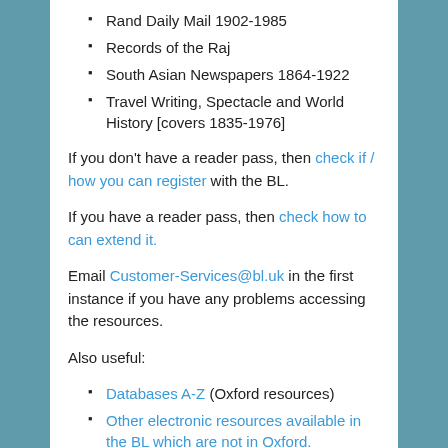Rand Daily Mail 1902-1985
Records of the Raj
South Asian Newspapers 1864-1922
Travel Writing, Spectacle and World History [covers 1835-1976]
If you don't have a reader pass, then check if / how you can register with the BL.
If you have a reader pass, then check how to can extend it.
Email Customer-Services@bl.uk in the first instance if you have any problems accessing the resources.
Also useful:
Databases A-Z (Oxford resources)
Other electronic resources available in the BL which are not in Oxford.